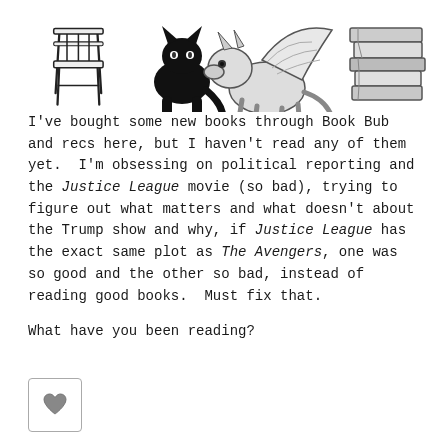[Figure (illustration): Three black-and-white illustrations: a wooden chair on the left, a black cat and a winged lion/griffin in the center, and a stack of books on the right.]
I've bought some new books through Book Bub and recs here, but I haven't read any of them yet.  I'm obsessing on political reporting and the Justice League movie (so bad), trying to figure out what matters and what doesn't about the Trump show and why, if Justice League has the exact same plot as The Avengers, one was so good and the other so bad, instead of reading good books.  Must fix that.
What have you been reading?
[Figure (other): A heart icon inside a small rounded square button, like a like/favorite button.]